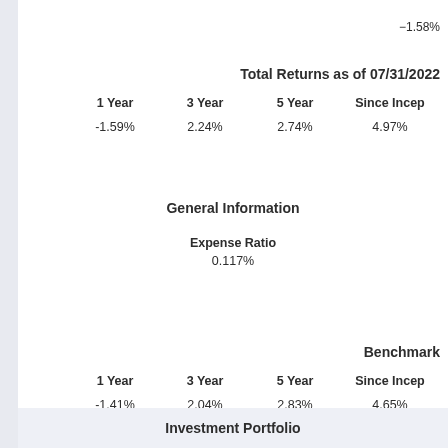-1.58%
Total Returns as of 07/31/2022
| 1 Year | 3 Year | 5 Year | Since Incep |
| --- | --- | --- | --- |
| -1.59% | 2.24% | 2.74% | 4.97% |
General Information
Expense Ratio
0.117%
Benchmark
| 1 Year | 3 Year | 5 Year | Since Incep |
| --- | --- | --- | --- |
| -1.41% | 2.04% | 2.83% | 4.65% |
Investment Portfolio